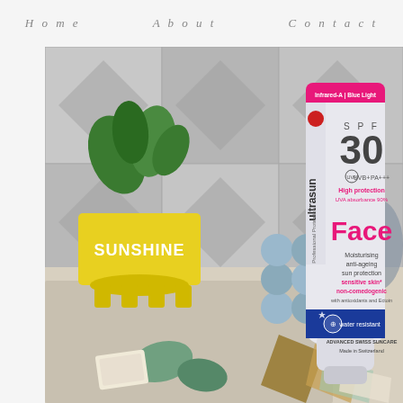Home   About   Contact
[Figure (photo): Photo of an Ultrasun Professional Protection SPF 30 Face sunscreen tube (Moisturising anti-ageing sun protection, sensitive skin, non-comedogenic, with antioxidants and Ectoin, water resistant, ADVANCED SWISS SUNCARE, Made in Switzerland, Infrared-A | Blue Light, UVB+UVA PA+++) displayed upright on a surface surrounded by a yellow pot plant with 'SUNSHINE' text, decorative grey tile background, blue bubble-shaped decorative object, and green gemstones in the foreground.]